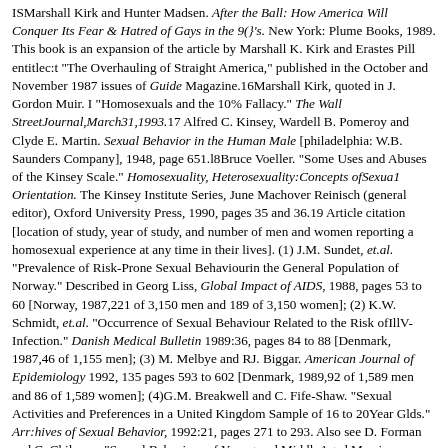ISMarshall Kirk and Hunter Madsen. After the Ball: How America Will Conquer Its Fear & Hatred of Gays in the 9(}'s. New York: Plume Books, 1989. This book is an expansion of the article by Marshall K. Kirk and Erastes Pill entitlec:t "The Overhauling of Straight America," published in the October and November 1987 issues of Guide Magazine.16Marshall Kirk, quoted in J. Gordon Muir. I "Homosexuals and the 10% Fallacy." The Wall StreetJournal,March31,1993.17 Alfred C. Kinsey, Wardell B. Pomeroy and Clyde E. Martin. Sexual Behavior in the Human Male [philadelphia: W.B. Saunders Company], 1948, page 651.l8Bruce Voeller. "Some Uses and Abuses of the Kinsey Scale." Homosexuality, Heterosexuality:Concepts ofSexua1 Orientation. The Kinsey Institute Series, June Machover Reinisch (general editor), Oxford University Press, 1990, pages 35 and 36.19 Article citation [location of study, year of study, and number of men and women reporting a homosexual experience at any time in their lives]. (1) J.M. Sundet, et.al. "Prevalence of Risk-Prone Sexual Behaviourin the General Population of Norway." Described in Georg Liss, Global Impact of AIDS, 1988, pages 53 to 60 [Norway, 1987,221 of 3,150 men and 189 of 3,150 women]; (2) K.W. Schmidt, et.al. "Occurrence of Sexual Behaviour Related to the Risk ofIllV-Infection." Danish Medical Bulletin 1989:36, pages 84 to 88 [Denmark, 1987,46 of 1,155 men]; (3) M. Melbye and RJ. Biggar. American Journal of Epidemiology 1992, 135 pages 593 to 602 [Denmark, 1989,92 of 1,589 men and 86 of 1,589 women]; (4)G.M. Breakwell and C. Fife-Shaw. "Sexual Activities and Preferences in a United Kingdom Sample of 16 to 20Year Glds." Arr:hives of Sexual Behavior, 1992:21, pages 271 to 293. Also see D. Forman and C. Chilverso "Sexual Behaviour of Young and MiddleAged Men in England and Wales." British Medical Journal,298, 1989, pages 1,137 to 1,142 [Great Britain, 1989,54 of 1,086 men and 52.of 1,085 women]; (5) G. Ramafedi, et.al. "Demography of Sexual Orientation in Adolescents." Pediatrics, 1992:89, pages 714 to 721 [United States, 1987, 700 of18,370 men and 700 of18,371 women]; (6) S. Roberts and C. Thmer. "Male-Male Sexual Contact in the USA: Findings From Five Sample Surveys...